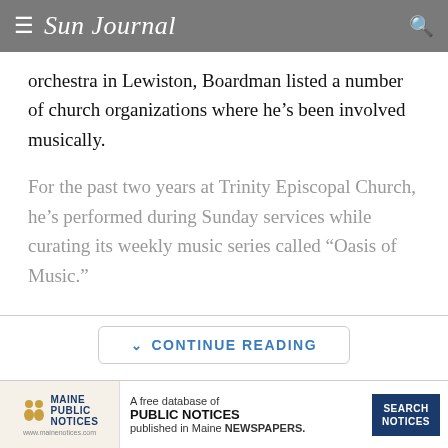Sun Journal
orchestra in Lewiston, Boardman listed a number of church organizations where he’s been involved musically.
For the past two years at Trinity Episcopal Church, he’s performed during Sunday services while curating its weekly music series called “Oasis of Music.”
CONTINUE READING
[Figure (infographic): Maine Public Notices advertisement banner: logo with two figures and text 'Maine Public Notices www.mainenotices.com', ad text 'A free database of PUBLIC NOTICES published in Maine NEWSPAPERS.', and a blue 'SEARCH NOTICES' button.]